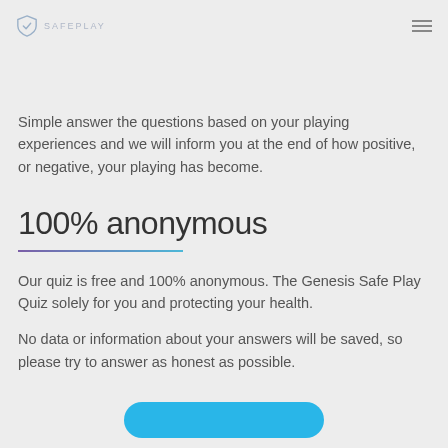SAFEPLAY
you're worried about your safety, take our online quiz for a better understanding.
Simple answer the questions based on your playing experiences and we will inform you at the end of how positive, or negative, your playing has become.
100% anonymous
Our quiz is free and 100% anonymous. The Genesis Safe Play Quiz solely for you and protecting your health.
No data or information about your answers will be saved, so please try to answer as honest as possible.